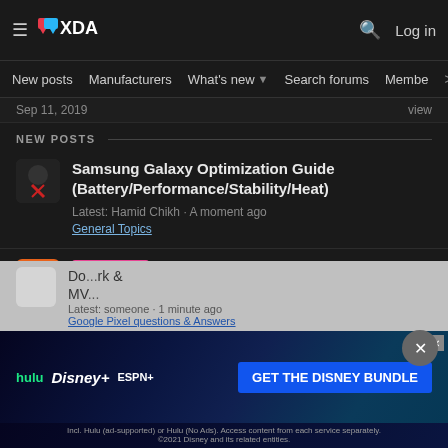XDA · Log in
New posts · Manufacturers · What's new · Search forums · Members >
Sep 11, 2019  view
NEW POSTS
Samsung Galaxy Optimization Guide (Battery/Performance/Stability/Heat)
Latest: Hamid Chikh · A moment ago
General Topics
Development [ROM][12.1][UNOFFICIAL] PixelExperience for Xiaomi MIX 4
Latest: FtzslyYueMing · 1 minute ago
Xiaomi Mi MIX 4
[Figure (screenshot): Disney Bundle advertisement banner with Hulu, Disney+, and ESPN+ logos and GET THE DISNEY BUNDLE CTA button]
Do...rk &
MV...
Latest: someone · 1 minute ago
Google Pixel questions & Answers